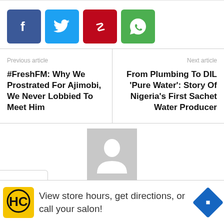[Figure (infographic): Social share buttons: Facebook (blue), Twitter (light blue), Pinterest (red), WhatsApp (green)]
Previous article
#FreshFM: Why We Prostrated For Ajimobi, We Never Lobbied To Meet Him
Next article
From Plumbing To DIL 'Pure Water': Story Of Nigeria's First Sachet Water Producer
[Figure (photo): Default avatar placeholder - grey silhouette of a person on light grey background]
[Figure (infographic): Advertisement banner: HC logo on yellow background, text 'View store hours, get directions, or call your salon!' with blue diamond direction arrow icon]